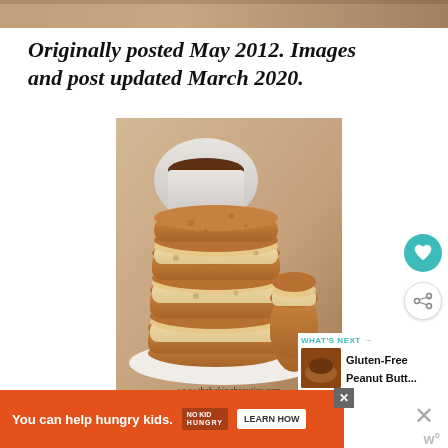[Figure (photo): Partial top image strip showing baked goods or food item]
Originally posted May 2012. Images and post updated March 2020.
[Figure (photo): Stack of peanut butter sandwich cookies on a white plate with a cup of coffee in the background. Watermark: www.thebakingbeauties.com]
WHAT'S NEXT → Gluten-Free Peanut Butt...
You can help hungry kids. NO KID HUNGRY LEARN HOW